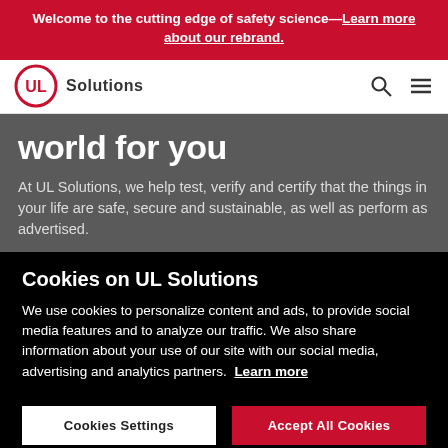Welcome to the cutting edge of safety science—Learn more about our rebrand.
[Figure (logo): UL Solutions logo with circular UL mark and 'Solutions' text]
world for you
At UL Solutions, we help test, verify and certify that the things in your life are safe, secure and sustainable, as well as perform as advertised.
Cookies on UL Solutions
We use cookies to personalize content and ads, to provide social media features and to analyze our traffic. We also share information about your use of our site with our social media, advertising and analytics partners. Learn more
Cookies Settings | Accept All Cookies